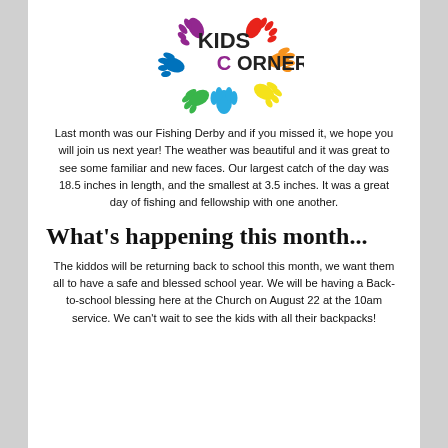[Figure (logo): Kids Corner logo with colorful handprints in red, orange, yellow, green, blue, and purple arranged around the bold text 'KIDS CORNER']
Last month was our Fishing Derby and if you missed it, we hope you will join us next year! The weather was beautiful and it was great to see some familiar and new faces. Our largest catch of the day was 18.5 inches in length, and the smallest at 3.5 inches. It was a great day of fishing and fellowship with one another.
What's happening this month...
The kiddos will be returning back to school this month, we want them all to have a safe and blessed school year. We will be having a Back-to-school blessing here at the Church on August 22 at the 10am service. We can't wait to see the kids with all their backpacks!